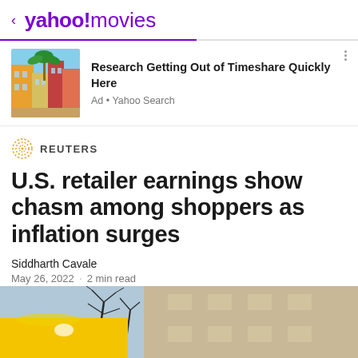< yahoo!movies
[Figure (screenshot): Advertisement for timeshare exit service showing colorful Mediterranean-style buildings with palm tree]
Research Getting Out of Timeshare Quickly Here
Ad • Yahoo Search
[Figure (logo): Reuters circular dotted logo]
U.S. retailer earnings show chasm among shoppers as inflation surges
Siddharth Cavale
May 26, 2022  ·  2 min read
[Figure (photo): Outdoor photo showing a yellow sign in foreground with bare winter trees and building facade against blue sky]
View comments